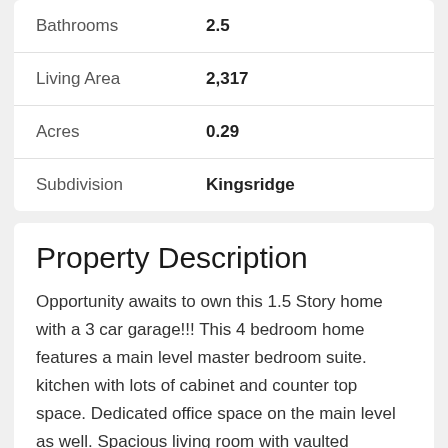| Field | Value |
| --- | --- |
| Bathrooms | 2.5 |
| Living Area | 2,317 |
| Acres | 0.29 |
| Subdivision | Kingsridge |
Property Description
Opportunity awaits to own this 1.5 Story home with a 3 car garage!!! This 4 bedroom home features a main level master bedroom suite. kitchen with lots of cabinet and counter top space. Dedicated office space on the main level as well. Spacious living room with vaulted ceilings. Large unfinished